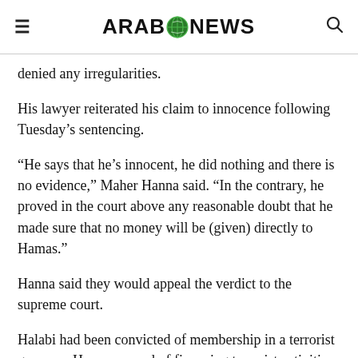ARAB NEWS
denied any irregularities.
His lawyer reiterated his claim to innocence following Tuesday’s sentencing.
“He says that he’s innocent, he did nothing and there is no evidence,” Maher Hanna said. “In the contrary, he proved in the court above any reasonable doubt that he made sure that no money will be (given) directly to Hamas.”
Hanna said they would appeal the verdict to the supreme court.
Halabi had been convicted of membership in a terrorist group — Hamas — and of financing terrorist activities of having “transmitted